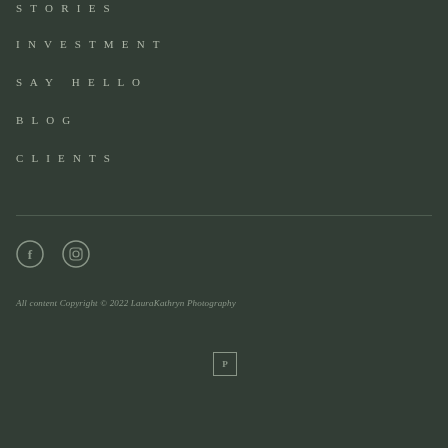STORIES
INVESTMENT
SAY HELLO
BLOG
CLIENTS
[Figure (illustration): Social media icons: Facebook (f) and Instagram (camera) in circle outlines]
All content Copyright © 2022 LauraKathryn Photography
[Figure (logo): Small square badge with letter P inside]